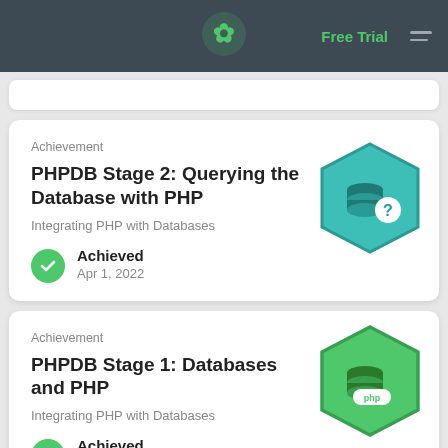Free Trial
Achievement
PHPDB Stage 2: Querying the Database with PHP
Integrating PHP with Databases
Achieved
Apr 1, 2022
[Figure (illustration): Teal hexagon badge with a database stack icon and a question mark circle]
Achievement
PHPDB Stage 1: Databases and PHP
Integrating PHP with Databases
Achieved
Apr 1, 2022
[Figure (illustration): Green hexagon badge with a database stack icon and PHP label]